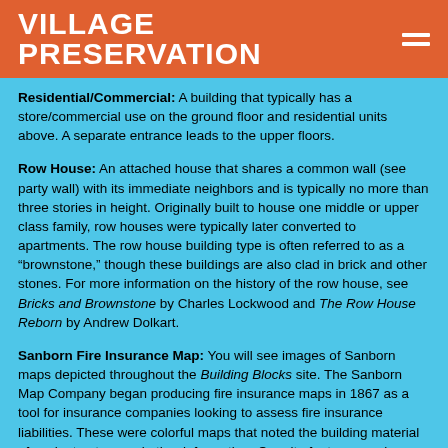VILLAGE PRESERVATION
Residential/Commercial: A building that typically has a store/commercial use on the ground floor and residential units above. A separate entrance leads to the upper floors.
Row House: An attached house that shares a common wall (see party wall) with its immediate neighbors and is typically no more than three stories in height. Originally built to house one middle or upper class family, row houses were typically later converted to apartments. The row house building type is often referred to as a “brownstone,” though these buildings are also clad in brick and other stones. For more information on the history of the row house, see Bricks and Brownstone by Charles Lockwood and The Row House Reborn by Andrew Dolkart.
Sanborn Fire Insurance Map: You will see images of Sanborn maps depicted throughout the Building Blocks site. The Sanborn Map Company began producing fire insurance maps in 1867 as a tool for insurance companies looking to assess fire insurance liabilities. These were colorful maps that noted the building material of each structure and other information. Our site features modern black and white Sanborn maps that include outlines of each building and outbuilding, the location of